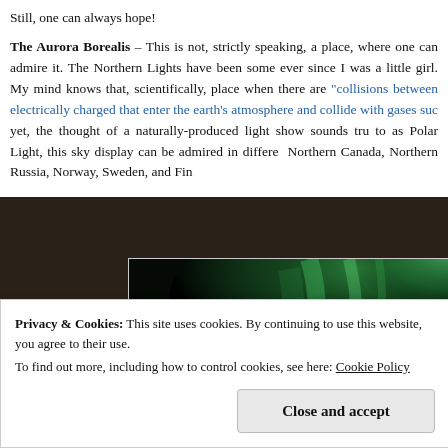Still, one can always hope!
The Aurora Borealis – This is not, strictly speaking, a place, where one can admire it. The Northern Lights have been some ever since I was a little girl. My mind knows that, scientifically, place when there are "collisions between electrically charged that enter the earth's atmosphere and collide with gases such yet, the thought of a naturally-produced light show sounds tru to as Polar Light, this sky display can be admired in differe Northern Canada, Northern Russia, Norway, Sweden, and Fin
[Figure (photo): Aurora Borealis / Northern Lights photograph showing green lights against a dark sky]
Privacy & Cookies: This site uses cookies. By continuing to use this website, you agree to their use.
To find out more, including how to control cookies, see here: Cookie Policy
Close and accept